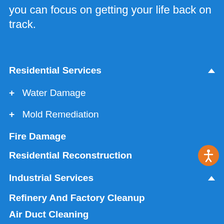you can focus on getting your life back on track.
Residential Services
+ Water Damage
+ Mold Remediation
Fire Damage
Residential Reconstruction
Industrial Services
Refinery And Factory Cleanup
Air Duct Cleaning
Commercial Services
Commercial Water Damage Cleanup